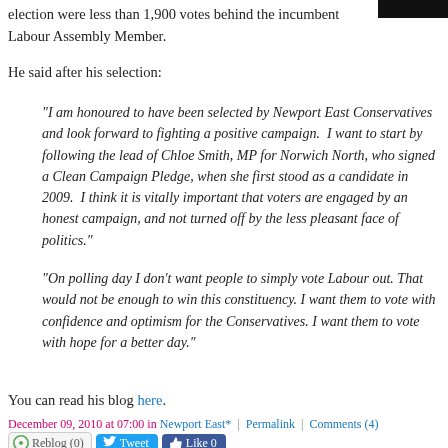election were less than 1,900 votes behind the incumbent Labour Assembly Member.
He said after his selection:
“I am honoured to have been selected by Newport East Conservatives and look forward to fighting a positive campaign.  I want to start by following the lead of Chloe Smith, MP for Norwich North, who signed a Clean Campaign Pledge, when she first stood as a candidate in 2009.  I think it is vitally important that voters are engaged by an honest campaign, and not turned off by the less pleasant face of politics.”
“On polling day I don’t want people to simply vote Labour out. That would not be enough to win this constituency. I want them to vote with confidence and optimism for the Conservatives. I want them to vote with hope for a better day.”
You can read his blog here.
December 09, 2010 at 07:00 in Newport East* | Permalink | Comments (4)
Candidates denied possibility of appeal in their application to stay on approved list